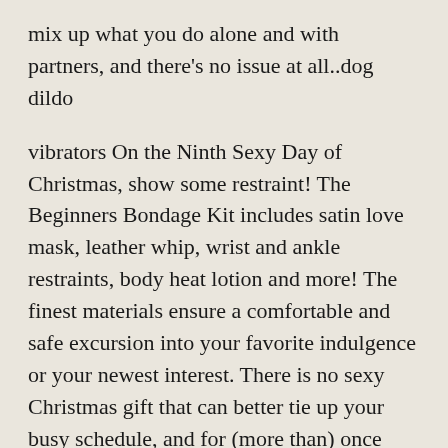mix up what you do alone and with partners, and there's no issue at all..dog dildo
vibrators On the Ninth Sexy Day of Christmas, show some restraint! The Beginners Bondage Kit includes satin love mask, leather whip, wrist and ankle restraints, body heat lotion and more! The finest materials ensure a comfortable and safe excursion into your favorite indulgence or your newest interest. There is no sexy Christmas gift that can better tie up your busy schedule, and for (more than) once you'll be grateful. Santa Claus may not be a reality, but your kinkiest fantasies are about to be! Priced from $43.55 $59.03..vibrators
The revelations came as a shock to parents and church members, who were not only operating under the impression that St. James was struggling to stay afloat in fiscally troubled waters, but also dealing with the